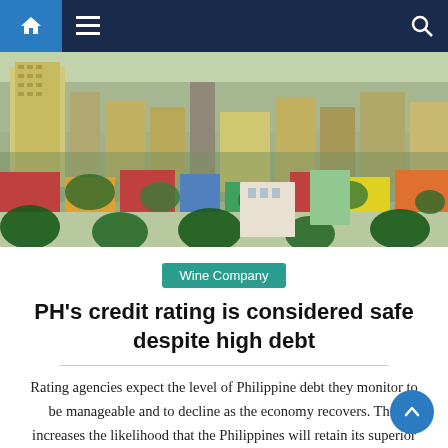Navigation bar with home, menu, and search icons
[Figure (photo): Aerial cityscape photo of a Philippine city showing dense urban buildings, colorful rooftops, trees, and high-rise structures in the background.]
Wine Company
PH's credit rating is considered safe despite high debt
Rating agencies expect the level of Philippine debt they monitor to be manageable and to decline as the economy recovers. This increases the likelihood that the Philippines will retain its superior credit ratings and therefore borrow cheaply during the Marcos Jr administration. The latest data from the Department of Finance (DOF) showed that the